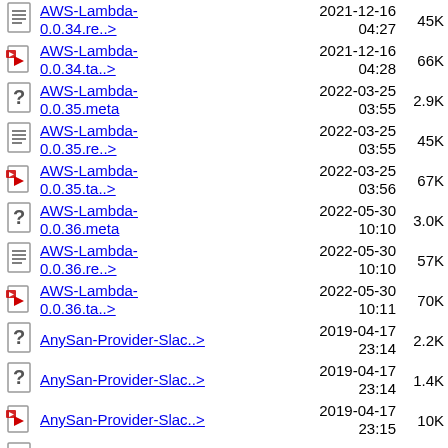AWS-Lambda-0.0.34.re..> 2021-12-16 04:27 45K
AWS-Lambda-0.0.34.ta..> 2021-12-16 04:28 66K
AWS-Lambda-0.0.35.meta 2022-03-25 03:55 2.9K
AWS-Lambda-0.0.35.re..> 2022-03-25 03:55 45K
AWS-Lambda-0.0.35.ta..> 2022-03-25 03:56 67K
AWS-Lambda-0.0.36.meta 2022-05-30 10:10 3.0K
AWS-Lambda-0.0.36.re..> 2022-05-30 10:10 57K
AWS-Lambda-0.0.36.ta..> 2022-05-30 10:11 70K
AnySan-Provider-Slac..> 2019-04-17 23:14 2.2K
AnySan-Provider-Slac..> 2019-04-17 23:14 1.4K
AnySan-Provider-Slac..> 2019-04-17 23:15 10K
AnySan-Provider-Slac..> 2021-11-17 2.2K